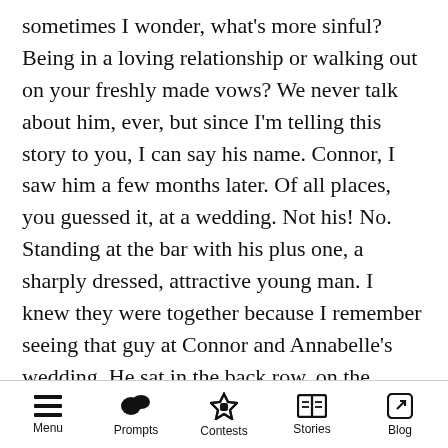sometimes I wonder, what's more sinful? Being in a loving relationship or walking out on your freshly made vows? We never talk about him, ever, but since I'm telling this story to you, I can say his name. Connor, I saw him a few months later. Of all places, you guessed it, at a wedding. Not his! No. Standing at the bar with his plus one, a sharply dressed, attractive young man. I knew they were together because I remember seeing that guy at Connor and Annabelle's wedding. He sat in the back row, on the groom's side. Connor saw me too, of course. I was the photographer, how could you miss me? The couple danced one fast dance then promptly
Menu  Prompts  Contests  Stories  Blog